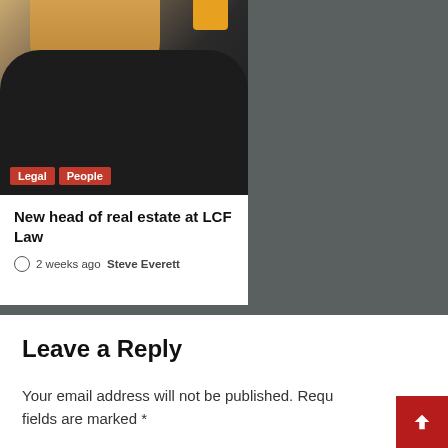[Figure (photo): Photo of a person with blond hair wearing a dark textured coat, viewed from behind/side. Category tags 'Legal' and 'People' overlay the bottom of the image.]
New head of real estate at LCF Law
2 weeks ago  Steve Everett
Leave a Reply
Your email address will not be published. Required fields are marked *